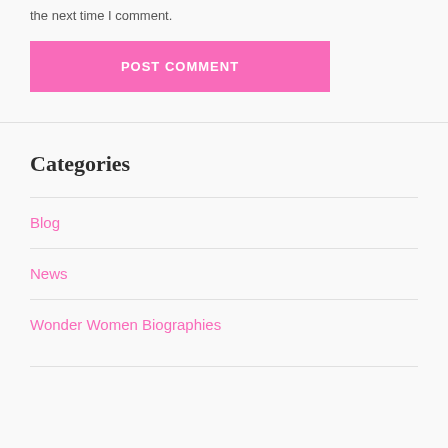the next time I comment.
POST COMMENT
Categories
Blog
News
Wonder Women Biographies